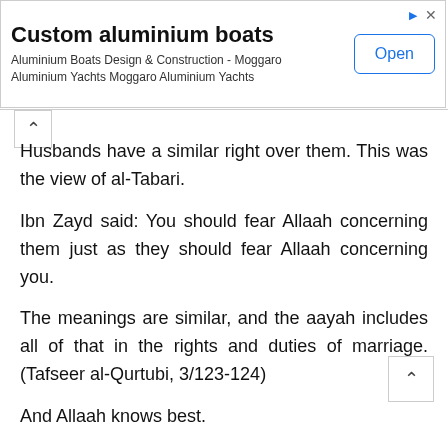[Figure (screenshot): Advertisement banner for Custom aluminium boats - Aluminium Boats Design & Construction - Moggaro Aluminium Yachts, with an Open button]
Husbands have a similar right over them. This was the view of al-Tabari.
Ibn Zayd said: You should fear Allaah concerning them just as they should fear Allaah concerning you.
The meanings are similar, and the aayah includes all of that in the rights and duties of marriage.(Tafseer al-Qurtubi, 3/123-124)
And Allaah knows best.
Whatever written of Truth and benefit is only due to